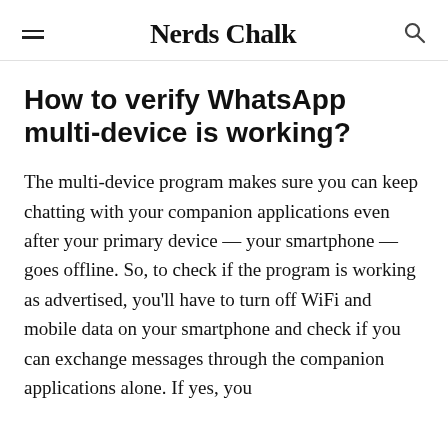Nerds Chalk
How to verify WhatsApp multi-device is working?
The multi-device program makes sure you can keep chatting with your companion applications even after your primary device — your smartphone — goes offline. So, to check if the program is working as advertised, you'll have to turn off WiFi and mobile data on your smartphone and check if you can exchange messages through the companion applications alone. If yes, you